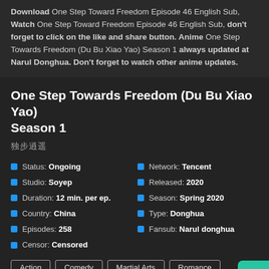Download One Step Toward Freedom Episode 46 English Sub, Watch One Step Toward Freedom Episode 46 English Sub, don't forget to click on the like and share button. Anime One Step Towards Freedom (Du Bu Xiao Yao) Season 1 always updated at Narul Donghua. Don't forget to watch other anime updates.
One Step Towards Freedom (Du Bu Xiao Yao) Season 1
独步逍遥
Status: Ongoing
Network: Tencent
Studio: Soyep
Released: 2020
Duration: 12 min. per ep.
Season: Spring 2020
Country: China
Type: Donghua
Episodes: 258
Fansub: Narul donghua
Censor: Censored
Action   Comedy   Martial Arts   Romance
The universe is vast, producing countless types of life forms. These life forms form all kinds of souls. All races and